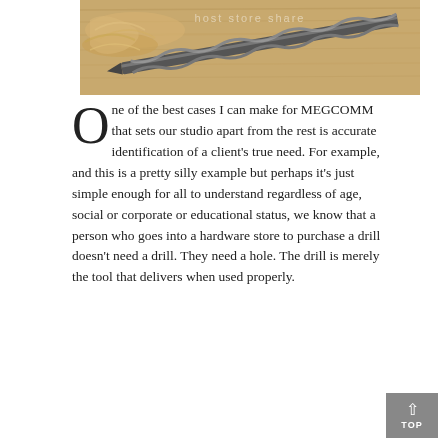[Figure (photo): A drill bit lying on a wooden surface with wood shavings scattered around it. The watermark text 'host store share' is faintly visible.]
One of the best cases I can make for MEGCOMM that sets our studio apart from the rest is accurate identification of a client's true need. For example, and this is a pretty silly example but perhaps it's just simple enough for all to understand regardless of age, social or corporate or educational status, we know that a person who goes into a hardware store to purchase a drill doesn't need a drill. They need a hole. The drill is merely the tool that delivers when used properly.